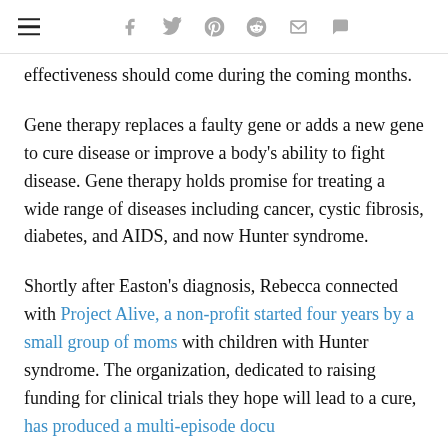≡  f  🐦  p  reddit  ✉  💬
effectiveness should come during the coming months.
Gene therapy replaces a faulty gene or adds a new gene to cure disease or improve a body's ability to fight disease. Gene therapy holds promise for treating a wide range of diseases including cancer, cystic fibrosis, diabetes, and AIDS, and now Hunter syndrome.
Shortly after Easton's diagnosis, Rebecca connected with Project Alive, a non-profit started four years by a small group of moms with children with Hunter syndrome. The organization, dedicated to raising funding for clinical trials they hope will lead to a cure, has produced a multi-episode docu…